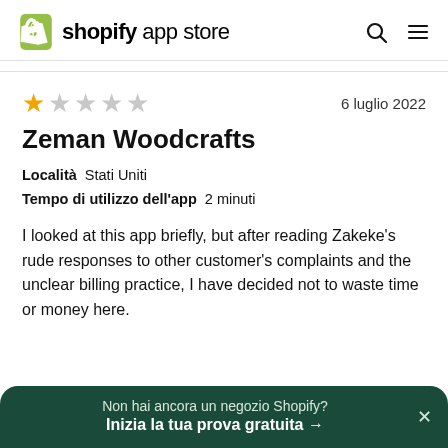shopify app store
[Figure (other): Star rating: 1 out of 5 stars]
6 luglio 2022
Zeman Woodcrafts
Località  Stati Uniti
Tempo di utilizzo dell'app  2 minuti
I looked at this app briefly, but after reading Zakeke's rude responses to other customer's complaints and the unclear billing practice, I have decided not to waste time or money here.
Non hai ancora un negozio Shopify? Inizia la tua prova gratuita →